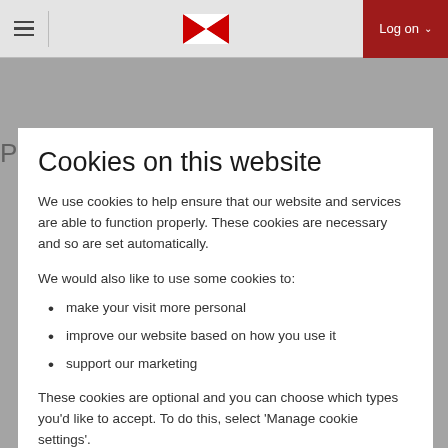HSBC navigation bar with hamburger menu, HSBC logo, and Log on button
Cookies on this website
We use cookies to help ensure that our website and services are able to function properly. These cookies are necessary and so are set automatically.
We would also like to use some cookies to:
make your visit more personal
improve our website based on how you use it
support our marketing
These cookies are optional and you can choose which types you'd like to accept. To do this, select 'Manage cookie settings'.
If you'd like to accept all optional cookies, select 'Accept all cookies'.